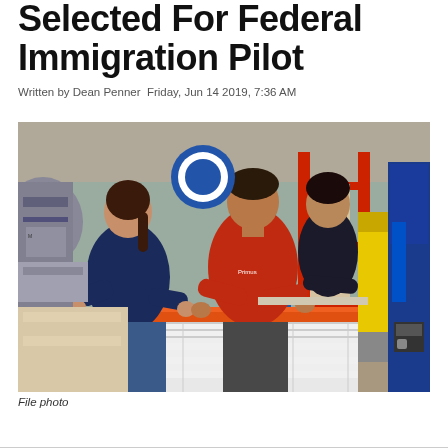Selected For Federal Immigration Pilot
Written by Dean Penner Friday, Jun 14 2019, 7:36 AM
[Figure (photo): Workers in a manufacturing/warehouse facility. A woman in a dark navy shirt and a man in a red shirt are handling stacked white and orange materials at a workbench. In the background, another worker stands near a table, and there is industrial equipment including a yellow forklift and a blue 'Blue Giant' machine. Red metal shelving is visible.]
File photo